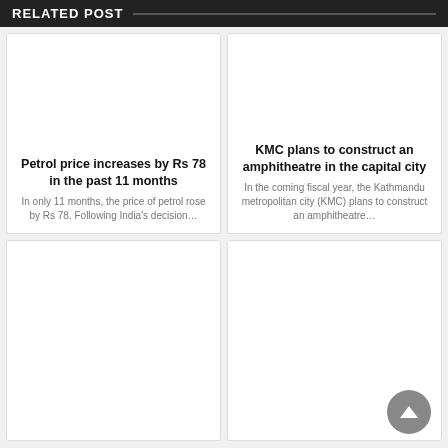RELATED POST
Petrol price increases by Rs 78 in the past 11 months
In only 11 months, the price of petrol rose by Rs 78. Following India's decision…
KMC plans to construct an amphitheatre in the capital city
In the coming fiscal year, the Kathmandu metropolitan city (KMC) plans to construct an amphitheatre…
[Figure (other): Scroll to top button - dark grey circle with upward triangle arrow]